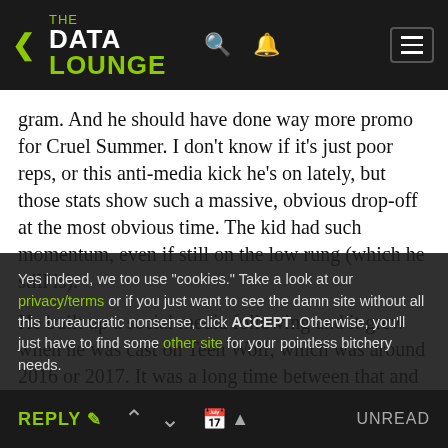THE DATA LOUNGE
gram. And he should have done way more promo for Cruel Summer. I don't know if it's just poor reps, or this anti-media kick he's on lately, but those stats show such a massive, obvious drop-off at the most obvious time. The kid had such momentum, even if still on the low rung (which he still is).
He built up a social media following and it grew when he was cast on Teen Wolf, which was around 2016 or 2017. It was a long time between that and Cruel Summer airing in 2021. He also was posting a lot about making an album, but that seems to have fallen through. You could've had such momentum, when do you mea...
Yes indeed, we too use "cookies." Take a look at our privacy/terms or if you just want to see the damn site without all this bureaucratic nonsense, click ACCEPT. Otherwise, you'll just have to find some other site for your pointless bitchery needs.
by Anonymous · reply 85 · June 25, 2022 12:11 PM
REPLY | ^ | v | calendar | UNREAD